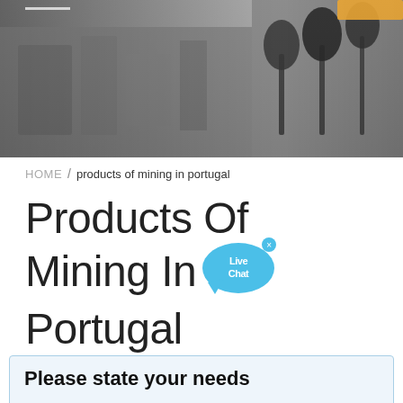[Figure (photo): Hero banner image showing industrial/manufacturing equipment and microphones on stands, blurred background]
HOME / products of mining in portugal
Products Of Mining In Portugal
[Figure (infographic): Live Chat bubble/button in blue with 'Live Chat' text and an 'x' close button]
Please state your needs
Anhui Meilan Intelligent Equipment Manufacturing Co., Ltd. warmly welcome all walks of life to contact us, we are waiting for your inquiry all day!